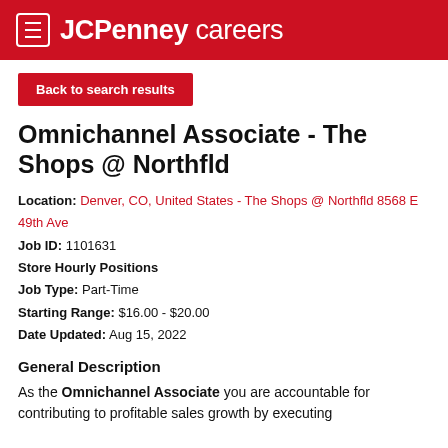JCPenney careers
Back to search results
Omnichannel Associate - The Shops @ Northfld
Location: Denver, CO, United States - The Shops @ Northfld 8568 E 49th Ave
Job ID: 1101631
Store Hourly Positions
Job Type: Part-Time
Starting Range: $16.00 - $20.00
Date Updated: Aug 15, 2022
General Description
As the Omnichannel Associate you are accountable for contributing to profitable sales growth by executing